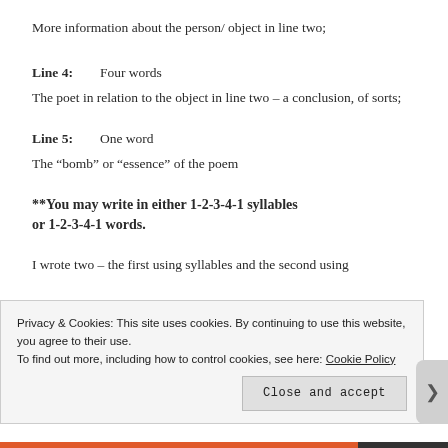More information about the person/ object in line two;
Line 4:   Four words
The poet in relation to the object in line two – a conclusion, of sorts;
Line 5:   One word
The “bomb” or “essence” of the poem
**You may write in either 1-2-3-4-1 syllables or 1-2-3-4-1 words.
I wrote two – the first using syllables and the second using
Privacy & Cookies: This site uses cookies. By continuing to use this website, you agree to their use. To find out more, including how to control cookies, see here: Cookie Policy